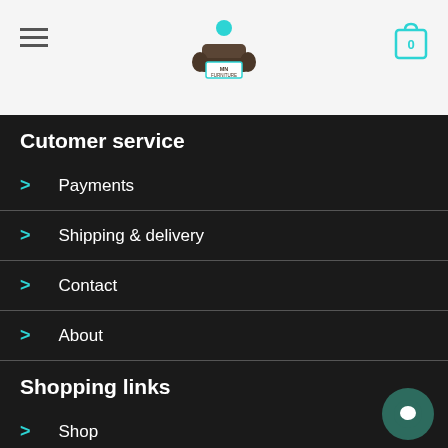[Figure (logo): MN Furniture logo with sofa and teal accent, centered in white header]
Cutomer service
Payments
Shipping & delivery
Contact
About
Shopping links
Shop
Cart
Check out